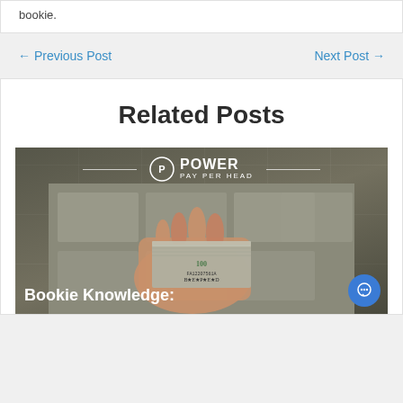bookie.
← Previous Post
Next Post →
Related Posts
[Figure (photo): Power Pay Per Head logo over image of a hand holding a stack of $100 bills with money in the background. Text overlay reads 'Bookie Knowledge:' at the bottom.]